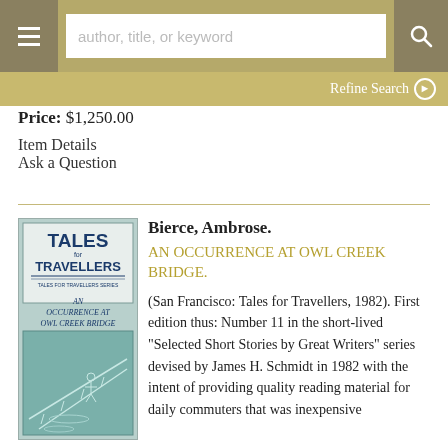author, title, or keyword | Refine Search
Price: $1,250.00
Item Details
Ask a Question
Bierce, Ambrose.
AN OCCURRENCE AT OWL CREEK BRIDGE.
(San Francisco: Tales for Travellers, 1982). First edition thus: Number 11 in the short-lived "Selected Short Stories by Great Writers" series devised by James H. Schmidt in 1982 with the intent of providing quality reading material for daily commuters that was inexpensive